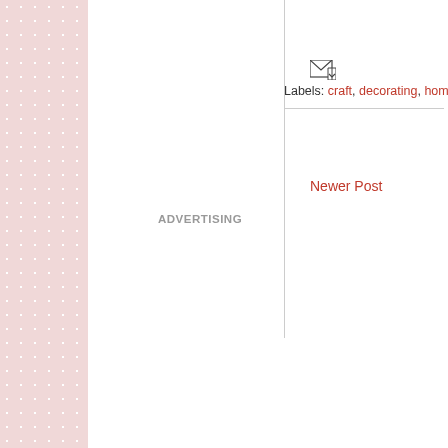[Figure (other): Pink polka-dot decorative sidebar on the left edge of the page]
Labels: craft, decorating, home
Newer Post
ADVERTISING